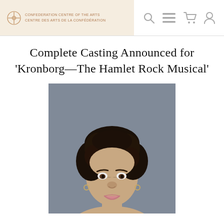CONFEDERATION CENTRE OF THE ARTS / CENTRE DES ARTS DE LA CONFÉDÉRATION
Complete Casting Announced for 'Kronborg—The Hamlet Rock Musical'
[Figure (photo): Headshot of a woman with curly natural hair, smiling, wearing a black top, against a grey background]